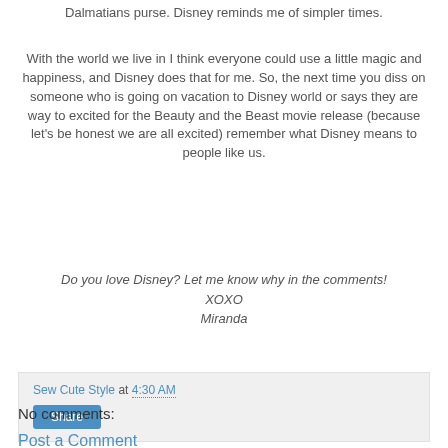Dalmatians purse. Disney reminds me of simpler times.
With the world we live in I think everyone could use a little magic and happiness, and Disney does that for me. So, the next time you diss on someone who is going on vacation to Disney world or says they are way to excited for the Beauty and the Beast movie release (because let's be honest we are all excited) remember what Disney means to people like us.
Do you love Disney? Let me know why in the comments!
XOXO
Miranda
Sew Cute Style at 4:30 AM
Share
No comments:
Post a Comment